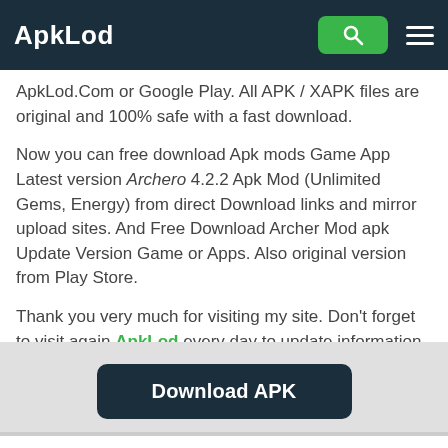ApkLod
ApkLod.com or Google Play. All APK / XAPK files are original and 100% safe with a fast download.
Now you can free download Apk mods Game App Latest version Archero 4.2.2 Apk Mod (Unlimited Gems, Energy) from direct Download links and mirror upload sites. And Free Download Archer Mod apk Update Version Game or Apps. Also original version from Play Store.
Thank you very much for visiting my site. Don't forget to visit again ApkLod every day to update information about the most interesting game & apps for Android.
[Figure (screenshot): Download APK button]
Related Posts of Archero
UNO! 1.9.7270